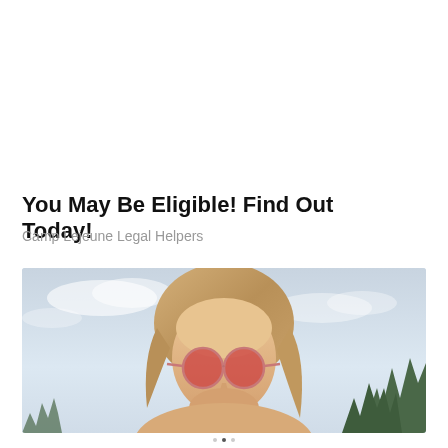You May Be Eligible! Find Out Today!
Camp Lejeune Legal Helpers
[Figure (photo): Photo of a woman with long hair wearing round red-tinted sunglasses, outdoors with sky and trees in background, cropped to show head and top of shoulders]